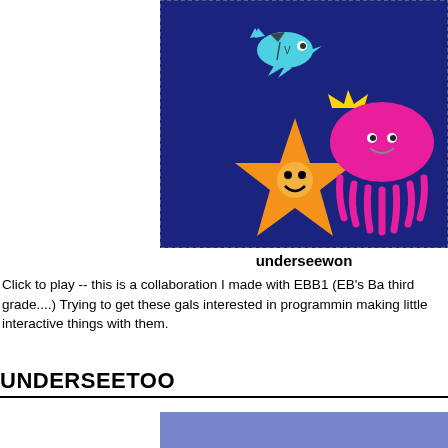[Figure (illustration): Cartoon underwater scene on dark navy blue background featuring a teal/cyan fish at top, a smiling orange starfish in the center-left, and a smiling pink jellyfish with a yellow crown on the right.]
underseewon
Click to play -- this is a collaboration I made with EBB1 (EB's Ba third grade....) Trying to get these gals interested in programmin making little interactive things with them.
UNDERSEETOO
[Figure (other): A periwinkle/light blue-purple rectangle at the bottom of the page, partially visible.]